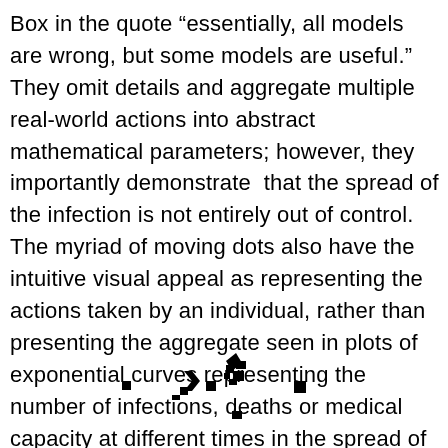Box in the quote “essentially, all models are wrong, but some models are useful.” They omit details and aggregate multiple real-world actions into abstract mathematical parameters; however, they importantly demonstrate that the spread of the infection is not entirely out of control. The myriad of moving dots also have the intuitive visual appeal as representing the actions taken by an individual, rather than presenting the aggregate seen in plots of exponential curves representing the number of infections, deaths or medical capacity at different times in the spread of the disease.
[Figure (other): Small scattered black pixel/dot shapes resembling moving particles or agents in a simulation, arranged near the bottom center of the page.]